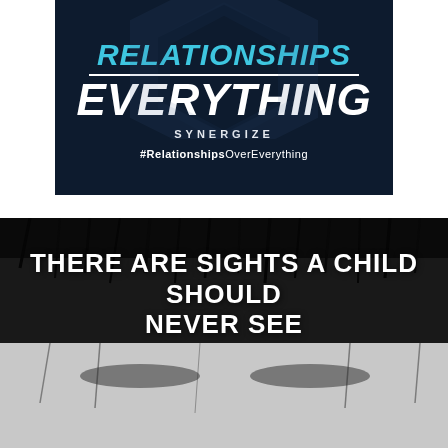[Figure (logo): Relationships Over Everything logo by Synergize on dark navy background. Text: RELATIONSHIPS (cyan/teal), EVERYTHING (white), SYNERGIZE (white spaced), #RelationshipsOverEverything (white)]
[Figure (illustration): Black and white close-up photo of a child's forehead and eyes with dark hair, overlaid with white bold uppercase text: 'THERE ARE SIGHTS A CHILD SHOULD NEVER SEE']